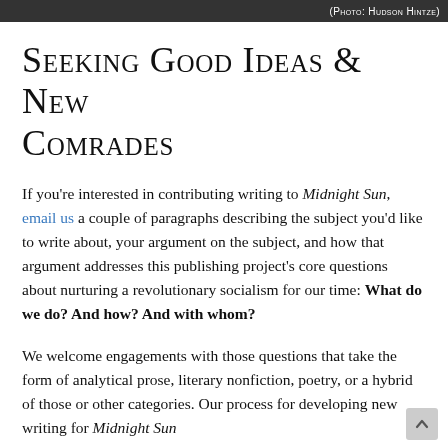(Photo: Hudson Hintze)
Seeking Good Ideas & New Comrades
If you're interested in contributing writing to Midnight Sun, email us a couple of paragraphs describing the subject you'd like to write about, your argument on the subject, and how that argument addresses this publishing project's core questions about nurturing a revolutionary socialism for our time: What do we do? And how? And with whom?
We welcome engagements with those questions that take the form of analytical prose, literary nonfiction, poetry, or a hybrid of those or other categories. Our process for developing new writing for Midnight Sun